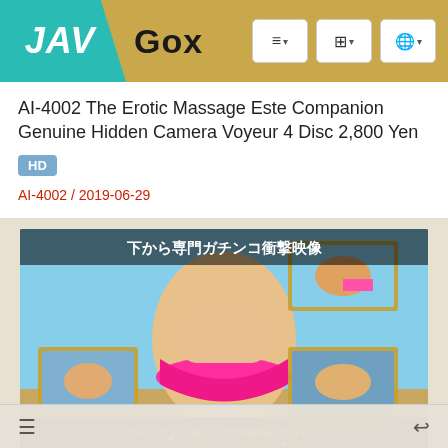JAV Gox
AI-4002 The Erotic Massage Este Companion Genuine Hidden Camera Voyeur 4 Disc 2,800 Yen
HD
AI-4002 / 2019-06-29
[Figure (photo): DVD cover art for AI-4002, showing Japanese text overlaid on photo imagery. Text reads: 下から専門ガチンコ衝撃映像 and キャンギャル達の下半身事情が丸分かり キャンギャル ローアングル撮り, with a number 50 in bottom right corner.]